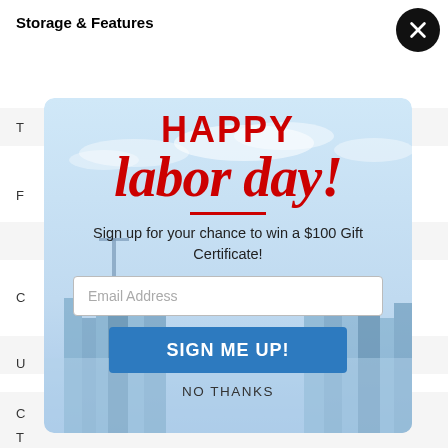Storage & Features
[Figure (screenshot): Happy Labor Day popup modal overlay on a webpage. The modal has a city skyline background in light blue tones. It contains bold red text reading 'HAPPY' and cursive red text 'labor day!' with a red underline. Below is text 'Sign up for your chance to win a $100 Gift Certificate!' followed by an email address input field, a blue 'SIGN ME UP!' button, and a 'NO THANKS' link. A black circular close button with an X is in the top-right corner of the page. Partially visible behind the modal are rows of webpage content labeled 'Storage & Features'.]